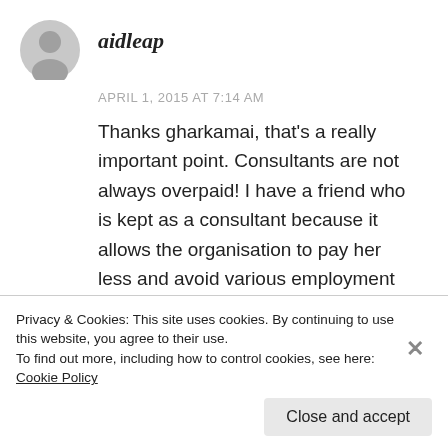aidleap
APRIL 1, 2015 AT 7:14 AM
Thanks gharkamai, that's a really important point. Consultants are not always overpaid! I have a friend who is kept as a consultant because it allows the organisation to pay her less and avoid various employment legislation. She's not a single mother, but your point is still relevant! What context /country are you
Privacy & Cookies: This site uses cookies. By continuing to use this website, you agree to their use.
To find out more, including how to control cookies, see here: Cookie Policy
Close and accept